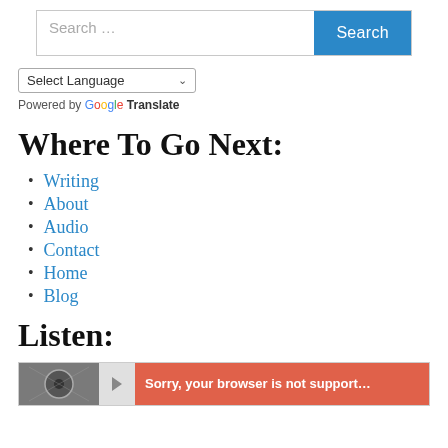Search …
Select Language
Powered by Google Translate
Where To Go Next:
Writing
About
Audio
Contact
Home
Blog
Listen:
[Figure (screenshot): Audio player bar with thumbnail image on the left and an error message reading 'Sorry, your browser is not supported']